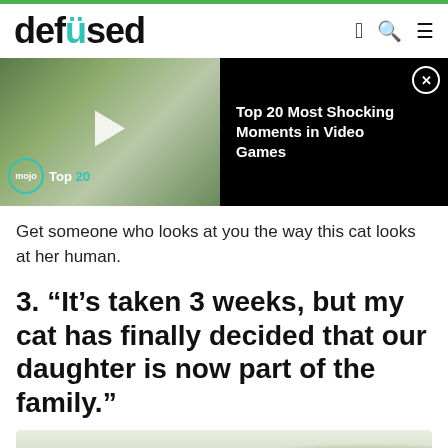defused
[Figure (screenshot): Video thumbnail showing animated character with mojo Top 20 badge, and ad panel with title 'Top 20 Most Shocking Moments in Video Games']
Get someone who looks at you the way this cat looks at her human.
3. “It’s taken 3 weeks, but my cat has finally decided that our daughter is now part of the family.”
[Figure (photo): Photo of a man with glasses holding a baby, with floral wallpaper and cactus plants in background]